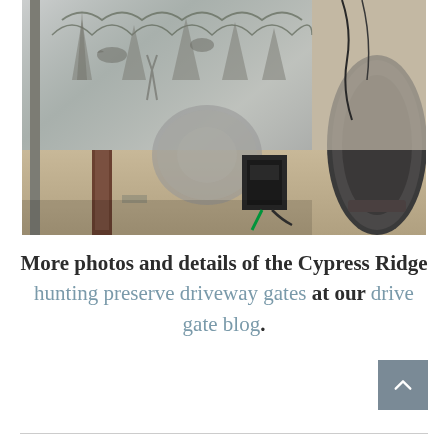[Figure (photo): A photograph showing a large decorative metal gate panel being fabricated or designed, with intricate cut-out patterns. The metalwork appears to be a hunting-themed driveway gate with various animal and nature motifs. Equipment including a black device with cables and a large round dark object are visible in the workshop setting.]
More photos and details of the Cypress Ridge hunting preserve driveway gates at our drive gate blog.